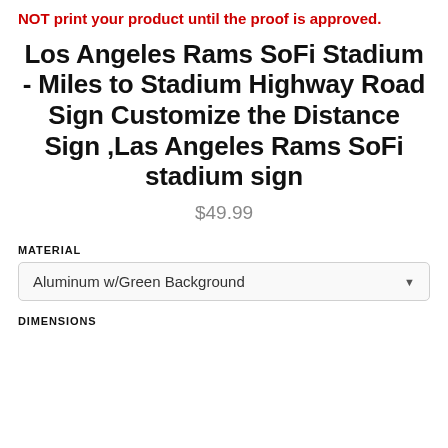NOT print your product until the proof is approved.
Los Angeles Rams SoFi Stadium - Miles to Stadium Highway Road Sign Customize the Distance Sign ,Las Angeles Rams SoFi stadium sign
$49.99
MATERIAL
Aluminum w/Green Background
DIMENSIONS